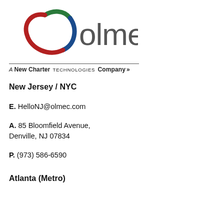[Figure (logo): Olmec logo with circular swirl mark in green, blue, and red, and 'olmec' wordmark in gray, with tagline 'A New Charter Technologies Company' below a horizontal rule]
New Jersey / NYC
E. HelloNJ@olmec.com
A. 85 Bloomfield Avenue, Denville, NJ 07834
P. (973) 586-6590
Atlanta (Metro)